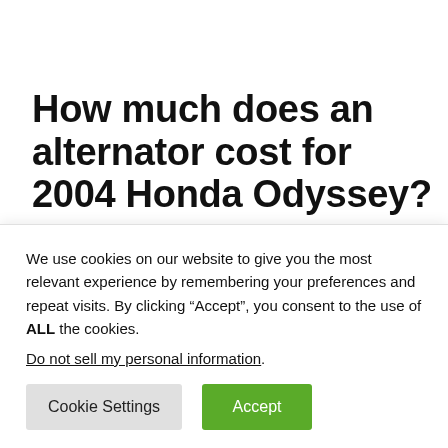How much does an alternator cost for 2004 Honda Odyssey?
We currently carry 6 Alternator products to choose from for your 2004 Honda Odyssey, and our inventory prices range...
We use cookies on our website to give you the most relevant experience by remembering your preferences and repeat visits. By clicking “Accept”, you consent to the use of ALL the cookies.
Do not sell my personal information.